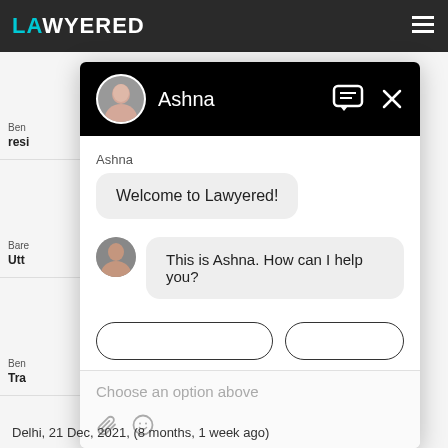[Figure (screenshot): Screenshot of Lawyered website with a chat widget open. The chat widget shows an AI/human assistant named Ashna with messages 'Welcome to Lawyered!' and 'This is Ashna. How can I help you?'. The background shows partially visible lawyer listing cards and a dark navigation bar with the Lawyered logo.]
Ashna
Welcome to Lawyered!
This is Ashna. How can I help you?
Choose an option above
Delhi,  21 Dec, 2021,  (8 months, 1 week ago)